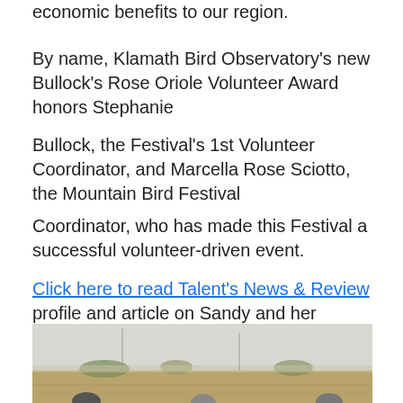economic benefits to our region.
By name, Klamath Bird Observatory’s new Bullock’s Rose Oriole Volunteer Award honors Stephanie
Bullock, the Festival’s 1st Volunteer Coordinator, and Marcella Rose Sciotto, the Mountain Bird Festival
Coordinator, who has made this Festival a successful volunteer-driven event.
Click here to read Talent’s News & Review profile and article on Sandy and her accomplishments.
#######################
[Figure (photo): Outdoor landscape photo showing a flat open field or plain with sparse vegetation, hazy sky, and figures visible at the bottom edge of the image.]